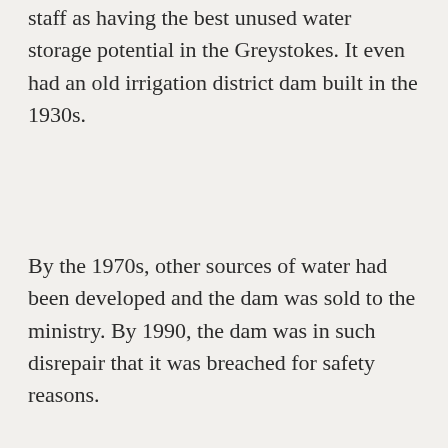staff as having the best unused water storage potential in the Greystokes. It even had an old irrigation district dam built in the 1930s.
By the 1970s, other sources of water had been developed and the dam was sold to the ministry. By 1990, the dam was in such disrepair that it was breached for safety reasons.
The rebuilt dam will hold back water during spring runoff and then release it into Mission Creek, the Okanagan's most important spawning stream, during the summer and fall. Kokanee spawn in mid-September.